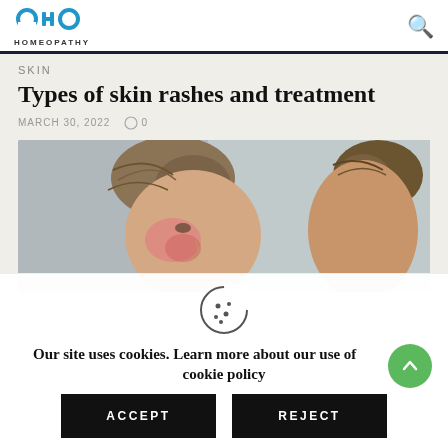[Figure (logo): OHO Homeopathy logo with blue stylized letters and HOMEOPATHY text below]
SKIN
Types of skin rashes and treatment
MARCH 30, 2022   〇 0
[Figure (photo): Woman with skin rash on face looking in mirror]
Our site uses cookies. Learn more about our use of cookies: cookie policy
ACCEPT
REJECT